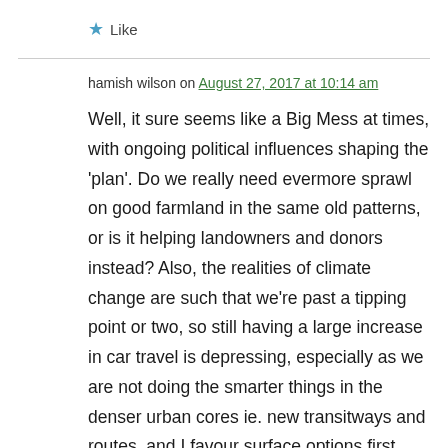★ Like
hamish wilson on August 27, 2017 at 10:14 am
Well, it sure seems like a Big Mess at times, with ongoing political influences shaping the 'plan'. Do we really need evermore sprawl on good farmland in the same old patterns, or is it helping landowners and donors instead? Also, the realities of climate change are such that we're past a tipping point or two, so still having a large increase in car travel is deepening, especially as we are not doing the smarter things in the denser urban cores ie. new transitways and routes, and I favour surface options first, with a semi-surface focus. (Sadly some of this may be